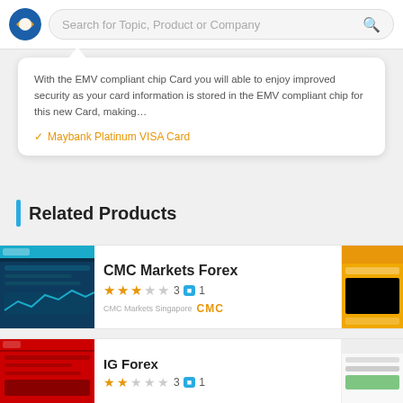Search for Topic, Product or Company
With the EMV compliant chip Card you will able to enjoy improved security as your card information is stored in the EMV compliant chip for this new Card, making...
✓ Maybank Platinum VISA Card
Related Products
CMC Markets Forex
3 ■ 1
CMC Markets Singapore
IG Forex
3 ■ 1